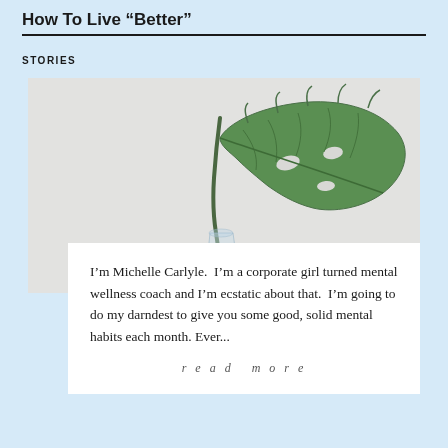How To Live “Better”
STORIES
[Figure (photo): A monstera or tropical leaf stem placed in a clear glass vase against a light grey background]
I’m Michelle Carlyle.  I’m a corporate girl turned mental wellness coach and I’m ecstatic about that.  I’m going to do my darndest to give you some good, solid mental habits each month. Ever...
read more